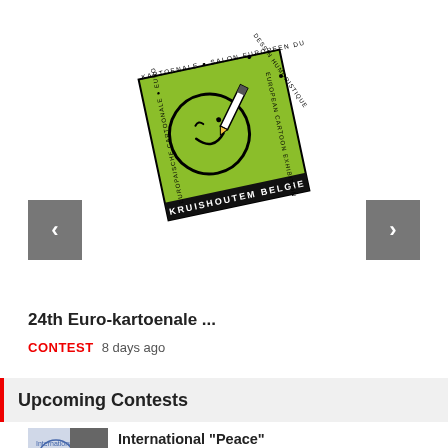[Figure (logo): Euro-kartoenale Kruishoutem Belgie logo: green square with cartoon figure drawing, surrounded by text labels in multiple languages, tilted stamp-like design]
24th Euro-kartoenale ...
CONTEST  8 days ago
Upcoming Contests
[Figure (photo): Thumbnail image of International Peace cartoon exhibition with overlay arrow button]
International "Peace" cartoon exhibition -Tu...